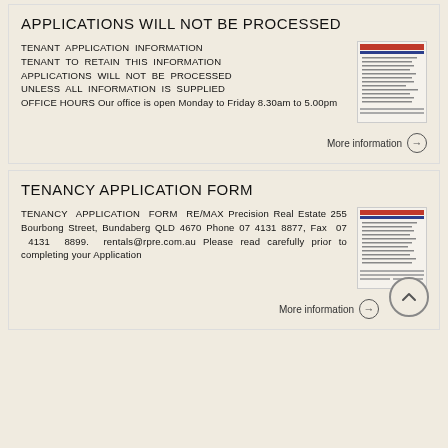APPLICATIONS WILL NOT BE PROCESSED
TENANT APPLICATION INFORMATION TENANT TO RETAIN THIS INFORMATION APPLICATIONS WILL NOT BE PROCESSED UNLESS ALL INFORMATION IS SUPPLIED OFFICE HOURS Our office is open Monday to Friday 8.30am to 5.00pm
[Figure (other): Thumbnail image of a tenant application information document]
More information
TENANCY APPLICATION FORM
TENANCY APPLICATION FORM RE/MAX Precision Real Estate 255 Bourbong Street, Bundaberg QLD 4670 Phone 07 4131 8877, Fax 07 4131 8899. rentals@rpre.com.au Please read carefully prior to completing your Application
[Figure (other): Thumbnail image of a tenancy application form document]
More information